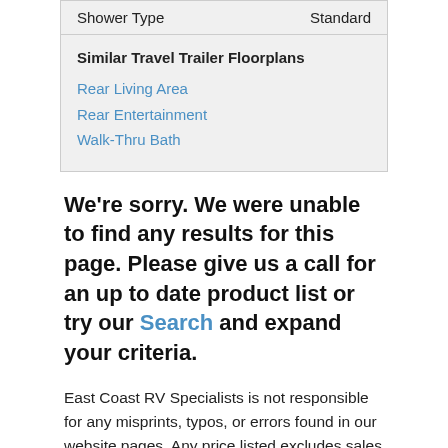| Shower Type | Standard |
| --- | --- |
Similar Travel Trailer Floorplans
Rear Living Area
Rear Entertainment
Walk-Thru Bath
We're sorry. We were unable to find any results for this page. Please give us a call for an up to date product list or try our Search and expand your criteria.
East Coast RV Specialists is not responsible for any misprints, typos, or errors found in our website pages. Any price listed excludes sales tax, registration tags, and delivery fees. Manufacturer pictures, specifications, and features may be used in place of